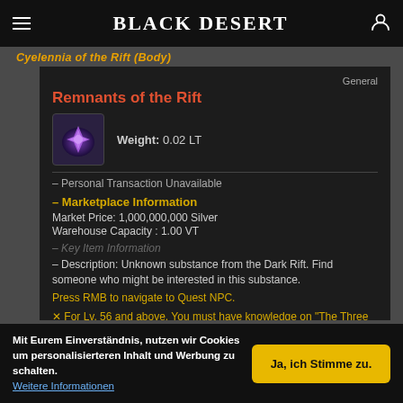Black Desert
Remnants of the Rift (Body)
General
Remnants of the Rift
Weight:  0.02 LT
– Personal Transaction Unavailable
– Marketplace Information
Market Price: 1,000,000,000 Silver
Warehouse Capacity : 1.00 VT
– Description: Unknown substance from the Dark Rift. Find someone who might be interested in this substance.
Press RMB to navigate to Quest NPC.
✕ For Lv. 56 and above. You must have knowledge on "The Three Legendary Blacksmiths of Mediah," which can be obtained by completing the quest
Mit Eurem Einverständnis, nutzen wir Cookies um personalisierteren Inhalt und Werbung zu schalten.
Weitere Informationen
Ja, ich Stimme zu.